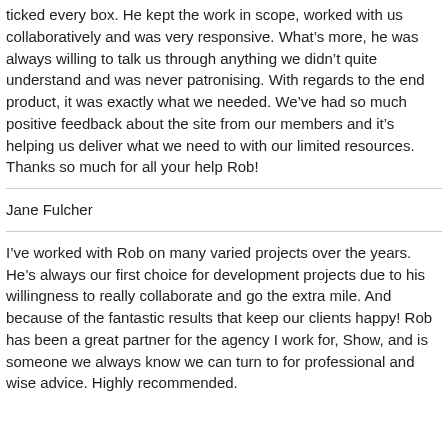ticked every box. He kept the work in scope, worked with us collaboratively and was very responsive. What's more, he was always willing to talk us through anything we didn't quite understand and was never patronising. With regards to the end product, it was exactly what we needed. We've had so much positive feedback about the site from our members and it's helping us deliver what we need to with our limited resources. Thanks so much for all your help Rob!
Jane Fulcher
I've worked with Rob on many varied projects over the years. He's always our first choice for development projects due to his willingness to really collaborate and go the extra mile. And because of the fantastic results that keep our clients happy! Rob has been a great partner for the agency I work for, Show, and is someone we always know we can turn to for professional and wise advice. Highly recommended.